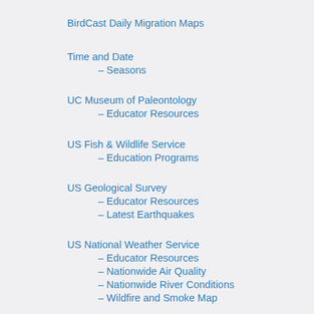BirdCast Daily Migration Maps
Time and Date
– Seasons
UC Museum of Paleontology
– Educator Resources
US Fish & Wildlife Service
– Education Programs
US Geological Survey
– Educator Resources
– Latest Earthquakes
US National Weather Service
– Educator Resources
– Nationwide Air Quality
– Nationwide River Conditions
– Wildfire and Smoke Map
Wild & Scenic Rivers Program